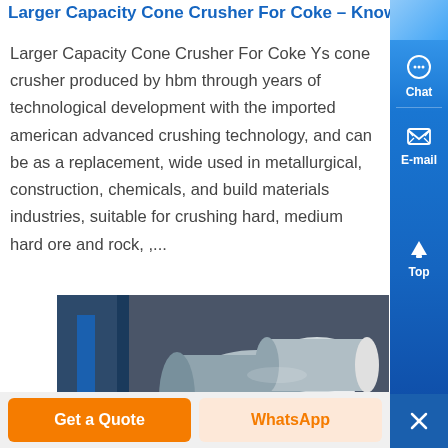Larger Capacity Cone Crusher For Coke – Know M...
Larger Capacity Cone Crusher For Coke Ys cone crusher produced by hbm through years of technological development with the imported american advanced crushing technology, and can be as a replacement, wide used in metallurgical, construction, chemicals, and build materials industries, suitable for crushing hard, medium hard ore and rock, ,...
[Figure (photo): Industrial cylindrical metal roller or crusher machinery parts, silver-grey metallic components in a workshop or factory setting.]